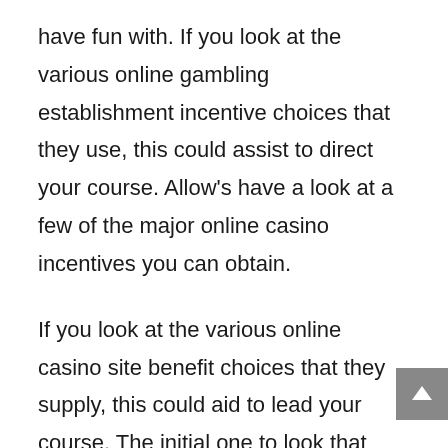have fun with. If you look at the various online gambling establishment incentive choices that they use, this could assist to direct your course. Allow's have a look at a few of the major online casino incentives you can obtain.
If you look at the various online casino site benefit choices that they supply, this could aid to lead your course. The initial one to look that would certainly be the benefit that has actually provided to any individual signing up with, frequently referred to as the brand-new gamer reward or welcome incentive. Several online casinos will certainly favor any individual to make a down payment via a details ways and